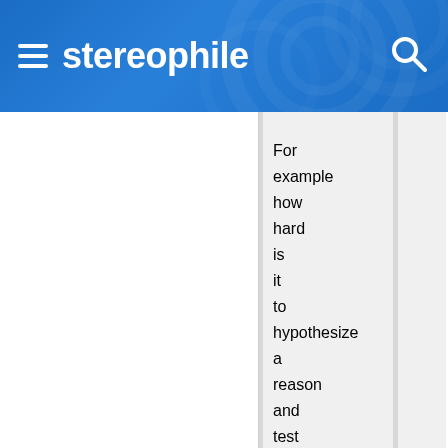stereophile
For example how hard is it to hypothesize a reason and test for it